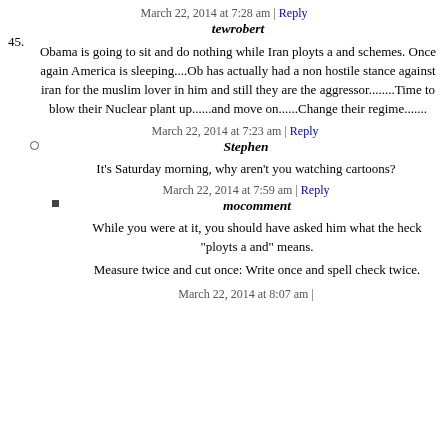March 22, 2014 at 7:28 am | Reply
45. tewrobert
Obama is going to sit and do nothing while Iran ployts a and schemes. Once again America is sleeping....Ob has actually had a non hostile stance against iran for the muslim lover in him and still they are the aggressor........Time to blow their Nuclear plant up......and move on......Change their regime.......
March 22, 2014 at 7:23 am | Reply
Stephen
It's Saturday morning, why aren't you watching cartoons?
March 22, 2014 at 7:59 am | Reply
mocomment
While you were at it, you should have asked him what the heck "ployts a and" means.

Measure twice and cut once: Write once and spell check twice.
March 22, 2014 at 8:07 am |